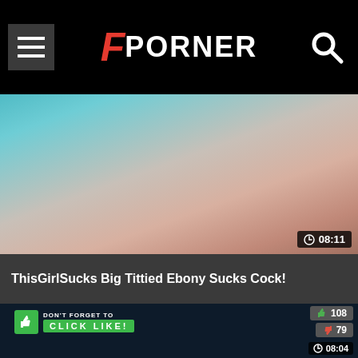FPorner
[Figure (screenshot): Video thumbnail showing partial view of a person]
08:11
ThisGirlSucks Big Tittied Ebony Sucks Cock!
[Figure (screenshot): Video player showing 'DON'T FORGET TO CLICK LIKE!' overlay with thumbs up icon, like count 108, dislike count 79, text 'AFTER ENJOYING THIS VIDEO', duration 08:04, TEAMSKEET.COM watermark]